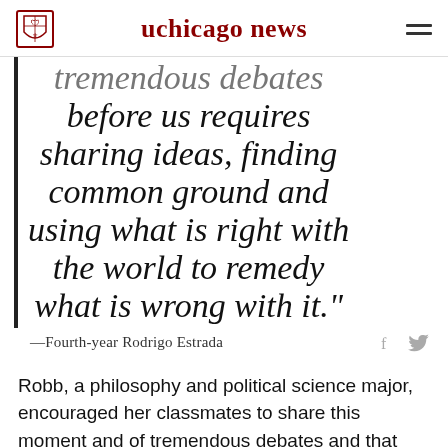uchicago news
tremendous debates before us requires sharing ideas, finding common ground and using what is right with the world to remedy what is wrong with it."
—Fourth-year Rodrigo Estrada
Robb, a philosophy and political science major, encouraged her classmates to share this moment and of tremendous debates and that have come